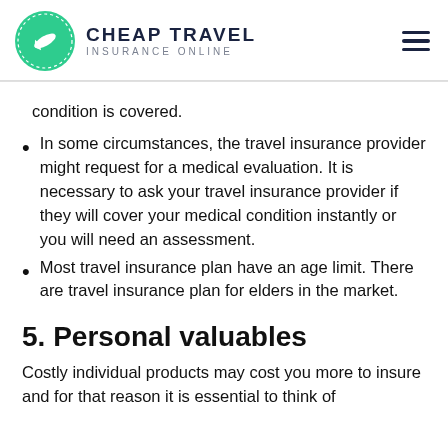CHEAP TRAVEL INSURANCE ONLINE
condition is covered.
In some circumstances, the travel insurance provider might request for a medical evaluation. It is necessary to ask your travel insurance provider if they will cover your medical condition instantly or you will need an assessment.
Most travel insurance plan have an age limit. There are travel insurance plan for elders in the market.
5. Personal valuables
Costly individual products may cost you more to insure and for that reason it is essential to think of